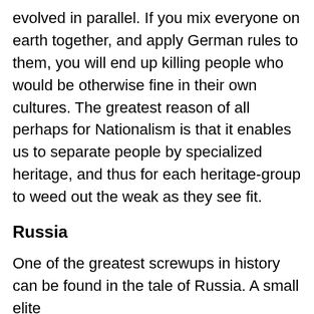evolved in parallel. If you mix everyone on earth together, and apply German rules to them, you will end up killing people who would be otherwise fine in their own cultures. The greatest reason of all perhaps for Nationalism is that it enables us to separate people by specialized heritage, and thus for each heritage-group to weed out the weak as they see fit.
Russia
One of the greatest screwups in history can be found in the tale of Russia. A small elite who have an enviable way above them...